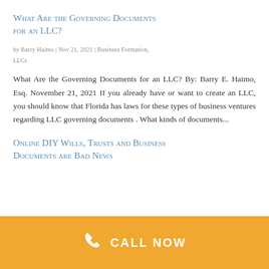What Are the Governing Documents for an LLC?
by Barry Haimo | Nov 21, 2021 | Business Formation, LLCs
What Are the Governing Documents for an LLC? By: Barry E. Haimo, Esq. November 21, 2021 If you already have or want to create an LLC, you should know that Florida has laws for these types of business ventures regarding LLC governing documents . What kinds of documents...
Online DIY Wills, Trusts and Business Documents are Bad News
CALL NOW